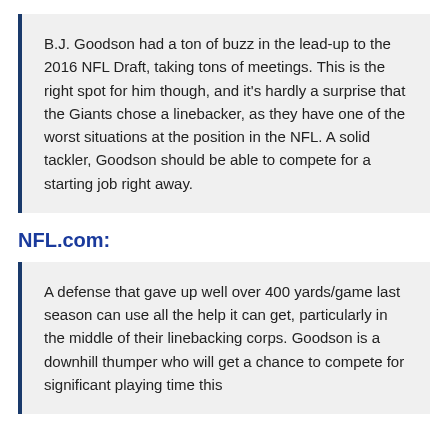B.J. Goodson had a ton of buzz in the lead-up to the 2016 NFL Draft, taking tons of meetings. This is the right spot for him though, and it's hardly a surprise that the Giants chose a linebacker, as they have one of the worst situations at the position in the NFL. A solid tackler, Goodson should be able to compete for a starting job right away.
NFL.com:
A defense that gave up well over 400 yards/game last season can use all the help it can get, particularly in the middle of their linebacking corps. Goodson is a downhill thumper who will get a chance to compete for significant playing time this